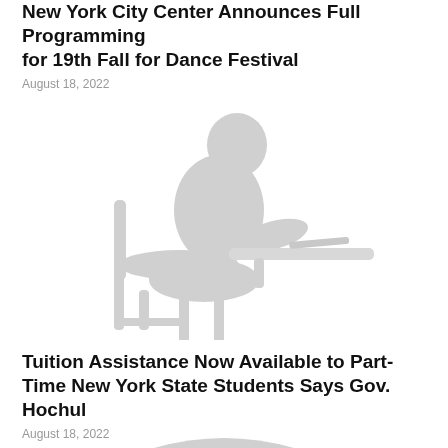New York City Center Announces Full Programming for 19th Fall for Dance Festival
August 18, 2022
[Figure (illustration): Silhouette illustration of a person sitting in a school desk/chair, gray color, side profile]
Tuition Assistance Now Available to Part-Time New York State Students Says Gov. Hochul
August 18, 2022
[Figure (illustration): Partial silhouette illustration of a building or object, gray color, partially visible at bottom of page]